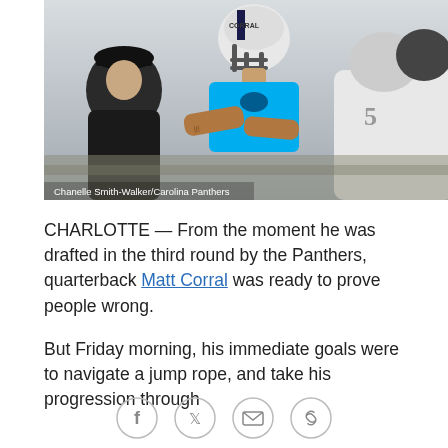[Figure (photo): Football player wearing a Carolina Panthers helmet with 'CORRAL' on it, in a blue jersey, crouching at the line of scrimmage during practice. Another player in black cap visible on the left, and a player in white jersey on the right.]
Chanelle Smith-Walker/Carolina Panthers
CHARLOTTE — From the moment he was drafted in the third round by the Panthers, quarterback Matt Corral was ready to prove people wrong.
But Friday morning, his immediate goals were to navigate a jump rope, and take his progression through